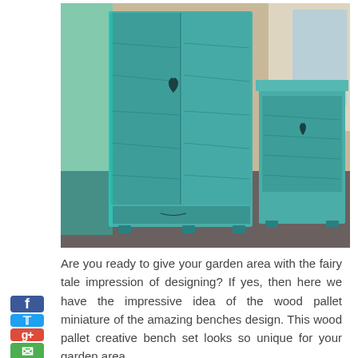[Figure (photo): Two teal/turquoise painted pallet wood furniture pieces — a large wardrobe/armoire with heart-shaped cutout handle and a smaller cabinet/nightstand — photographed in a room corner.]
Are you ready to give your garden area with the fairy tale impression of designing? If yes, then here we have the impressive idea of the wood pallet miniature of the amazing benches design. This wood pallet creative bench set looks so unique for your garden area.